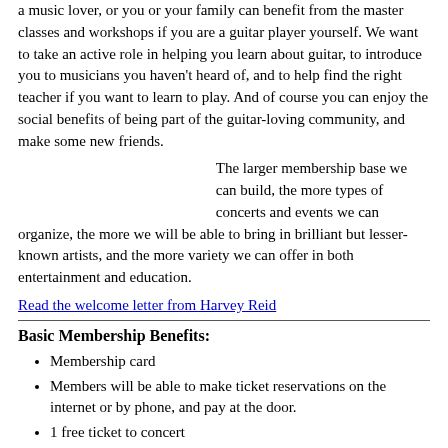a music lover, or you or your family can benefit from the master classes and workshops if you are a guitar player yourself. We want to take an active role in helping you learn about guitar, to introduce you to musicians you haven't heard of, and to help find the right teacher if you want to learn to play. And of course you can enjoy the social benefits of being part of the guitar-loving community, and make some new friends.
The larger membership base we can build, the more types of concerts and events we can organize, the more we will be able to bring in brilliant but lesser-known artists, and the more variety we can offer in both entertainment and education.
Read the welcome letter from Harvey Reid
Basic Membership Benefits:
Membership card
Members will be able to make ticket reservations on the internet or by phone, and pay at the door.
1 free ticket to concert
Discounts at local businesses (as we set this up)
Newsletter